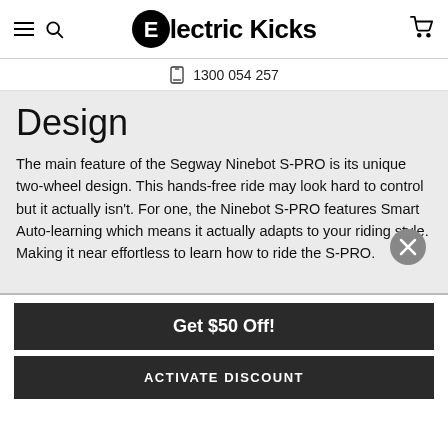Electric Kicks — navigation header with hamburger, search, logo, and cart icons
1300 054 257
Design
The main feature of the Segway Ninebot S-PRO is its unique two-wheel design. This hands-free ride may look hard to control but it actually isn't. For one, the Ninebot S-PRO features Smart Auto-learning which means it actually adapts to your riding style. Making it near effortless to learn how to ride the S-PRO.
Get $50 Off!
ACTIVATE DISCOUNT